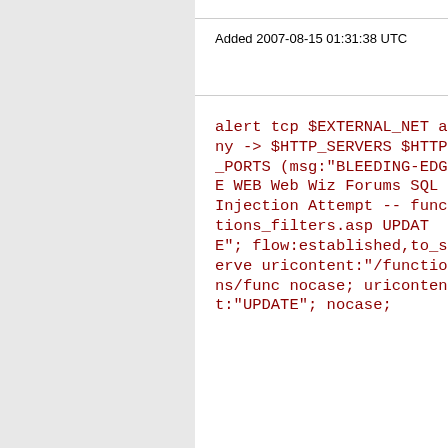Added 2007-08-15 01:31:38 UTC
alert tcp $EXTERNAL_NET any -> $HTTP_SERVERS $HTTP_PORTS (msg:"BLEEDING-EDGE WEB Web Wiz Forums SQL Injection Attempt -- functions_filters.asp UPDATE"; flow:established,to_serve uricontent:"/functions/func nocase; uricontent:"UPDATE"; nocase;